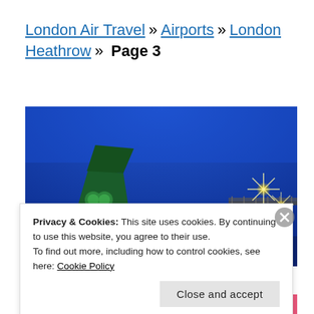London Air Travel » Airports » London Heathrow » Page 3
[Figure (photo): Nighttime photo of an airplane tail with green shamrock logo (Aer Lingus) against a deep blue sky, with bright starburst airport lights visible on the right side]
Privacy & Cookies: This site uses cookies. By continuing to use this website, you agree to their use.
To find out more, including how to control cookies, see here: Cookie Policy
Close and accept